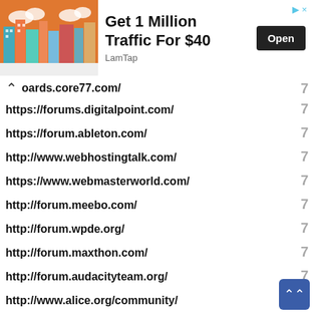[Figure (infographic): Advertisement banner: cityscape illustration with text 'Get 1 Million Traffic For $40', source 'LamTap', and an 'Open' button]
oards.core77.com/ 7
https://forums.digitalpoint.com/ 7
https://forum.ableton.com/ 7
http://www.webhostingtalk.com/ 7
https://www.webmasterworld.com/ 7
http://forum.meebo.com/ 7
http://forum.wpde.org/ 7
http://forum.maxthon.com/ 7
http://forum.audacityteam.org/ 7
http://www.alice.org/community/ 7
http://www.warriorforum.com/ 7
http://www.mapit.com.my/index.php?option=com_kunena&view=category&catid=1&Itemid=14 7
http://www.gardenweb.com/ 7
http://forums.seochat.com/ 7